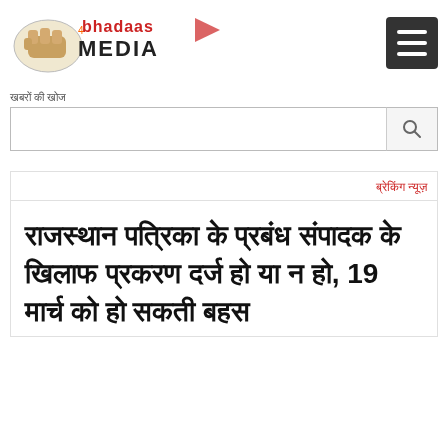[Figure (logo): Bhadaas Media logo with fist graphic and stylized text]
खबरों की खोज
[Figure (other): Search input field with search button]
ब्रेकिंग न्यूज़
राजस्थान पत्रिका के प्रबंध संपादक के खिलाफ प्रकरण दर्ज हो या न हो, 19 मार्च को हो सकती बहस